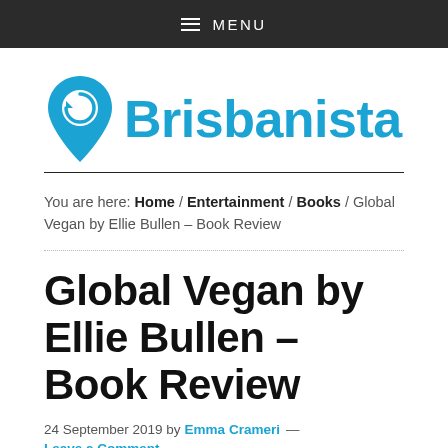≡ MENU
[Figure (logo): Brisbanista logo: blue location pin icon with circular arrow inside, next to bold blue text 'Brisbanista']
You are here: Home / Entertainment / Books / Global Vegan by Ellie Bullen – Book Review
Global Vegan by Ellie Bullen – Book Review
24 September 2019 by Emma Crameri — Leave a Comment